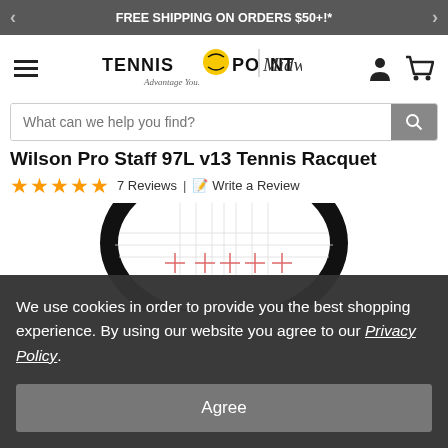FREE SHIPPING ON ORDERS $50+!*
[Figure (logo): Tennis Point | Midwest logo with tennis ball icon and tagline 'Advantage You']
What can we help you find?
Wilson Pro Staff 97L v13 Tennis Racquet
★★★★★ 7 Reviews | ✎ Write a Review
[Figure (photo): Wilson Pro Staff 97L v13 Tennis Racquet head showing black frame with white and pink string pattern]
We use cookies in order to provide you the best shopping experience. By using our website you agree to our Privacy Policy.
Agree